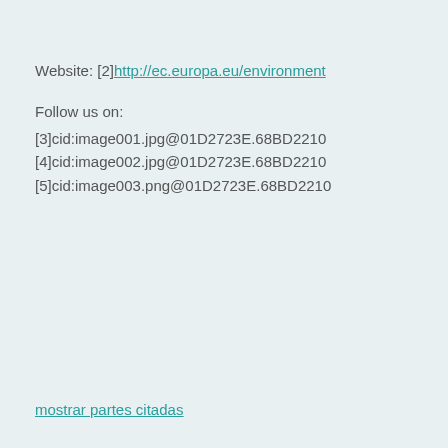Website: [2]http://ec.europa.eu/environment
Follow us on:
[3]cid:image001.jpg@01D2723E.68BD2210 [4]cid:image002.jpg@01D2723E.68BD2210 [5]cid:image003.png@01D2723E.68BD2210
mostrar partes citadas